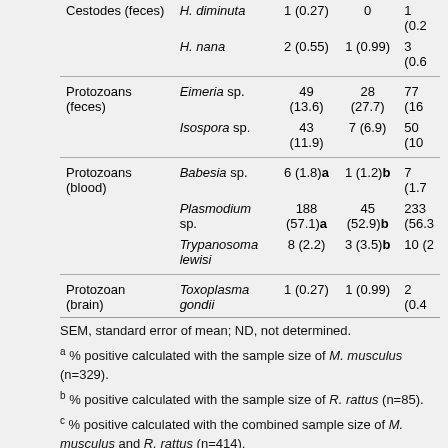|  | Species | M. musculus | R. rattus | Total |
| --- | --- | --- | --- | --- |
| Cestodes (feces) | H. diminuta | 1 (0.27) | 0 | 1 (0.2… |
|  | H. nana | 2 (0.55) | 1 (0.99) | 3 (0.6… |
| Protozoans (feces) | Eimeria sp. | 49 (13.6) | 28 (27.7) | 77 (16… |
|  | Isospora sp. | 43 (11.9) | 7 (6.9) | 50 (10… |
| Protozoans (blood) | Babesia sp. | 6 (1.8)a | 1 (1.2)b | 7 (1.7… |
|  | Plasmodium sp. | 188 (57.1)a | 45 (52.9)b | 233 (56.3… |
|  | Trypanosoma lewisi | 8 (2.2) | 3 (3.5)b | 10 (2… |
| Protozoan (brain) | Toxoplasma gondii | 1 (0.27) | 1 (0.99) | 2 (0.4… |
SEM, standard error of mean; ND, not determined.
a % positive calculated with the sample size of M. musculus (n=329).
b % positive calculated with the sample size of R. rattus (n=85).
c % positive calculated with the combined sample size of M. musculus and R. rattus (n=414).